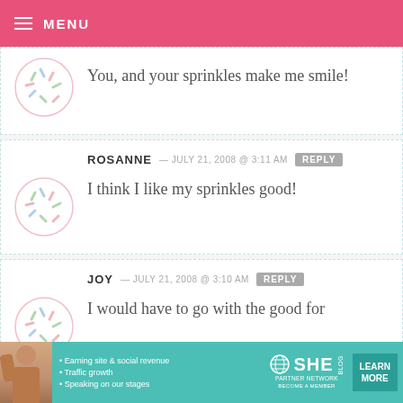MENU
You, and your sprinkles make me smile!
ROSANNE — JULY 21, 2008 @ 3:11 AM  REPLY
I think I like my sprinkles good!
JOY — JULY 21, 2008 @ 3:10 AM  REPLY
I would have to go with the good for
[Figure (infographic): SHE Partner Network advertisement banner with woman photo, bullet points about earning site & social revenue, traffic growth, speaking on our stages, SHE logo, and Learn More button]